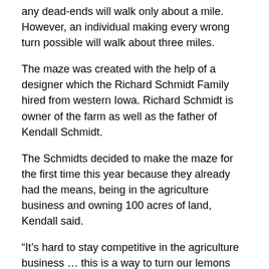any dead-ends will walk only about a mile. However, an individual making every wrong turn possible will walk about three miles.
The maze was created with the help of a designer which the Richard Schmidt Family hired from western Iowa. Richard Schmidt is owner of the farm as well as the father of Kendall Schmidt.
The Schmidts decided to make the maze for the first time this year because they already had the means, being in the agriculture business and owning 100 acres of land, Kendall said.
“It’s hard to stay competitive in the agriculture business … this is a way to turn our lemons into lemonade,” Kendall said, referring specifically to what the market is for corn now — $2 a bushel.